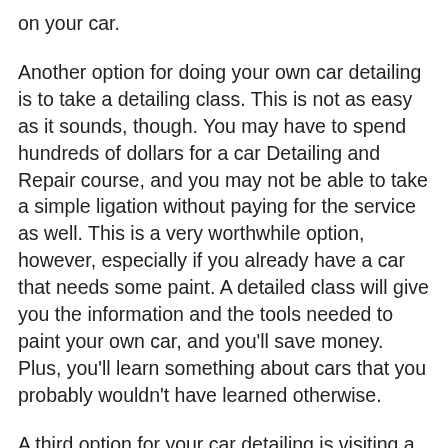on your car.
Another option for doing your own car detailing is to take a detailing class. This is not as easy as it sounds, though. You may have to spend hundreds of dollars for a car Detailing and Repair course, and you may not be able to take a simple ligation without paying for the service as well. This is a very worthwhile option, however, especially if you already have a car that needs some paint. A detailed class will give you the information and the tools needed to paint your own car, and you'll save money. Plus, you'll learn something about cars that you probably wouldn't have learned otherwise.
A third option for your car detailing is visiting a local detailing shop. While you won't be able to do everything that's possible at home, these shops typically have the tools needed to remove small amounts of damage. You should be prepared to pay a